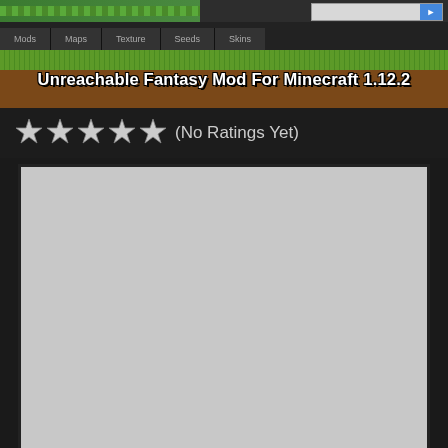Unreachable Fantasy Mod For Minecraft 1.12.2
☆☆☆☆☆ (No Ratings Yet)
[Figure (screenshot): Large grey placeholder content area with dark border, representing a Minecraft mod page image area that has not loaded.]